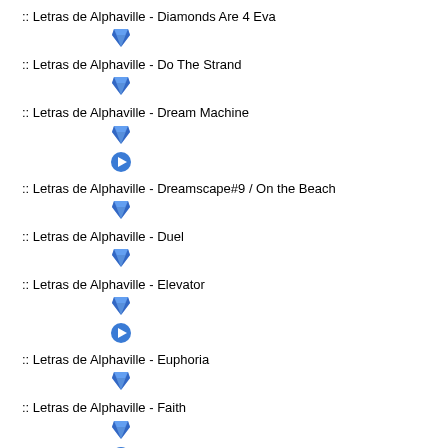:: Letras de Alphaville - Diamonds Are 4 Eva
:: Letras de Alphaville - Do The Strand
:: Letras de Alphaville - Dream Machine
:: Letras de Alphaville - Dreamscape#9 / On the Beach
:: Letras de Alphaville - Duel
:: Letras de Alphaville - Elevator
:: Letras de Alphaville - Euphoria
:: Letras de Alphaville - Faith
:: Letras de Alphaville - Fallen angel
:: Letras de Alphaville - Fantastic dream